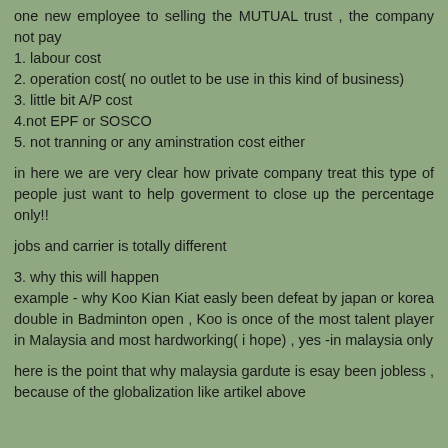one new employee to selling the MUTUAL trust , the company not pay
1. labour cost
2. operation cost( no outlet to be use in this kind of business)
3. little bit A/P cost
4.not EPF or SOSCO
5. not tranning or any aminstration cost either
in here we are very clear how private company treat this type of people just want to help goverment to close up the percentage only!!
jobs and carrier is totally different
3. why this will happen
example - why Koo Kian Kiat easly been defeat by japan or korea double in Badminton open , Koo is once of the most talent player in Malaysia and most hardworking( i hope) , yes -in malaysia only
here is the point that why malaysia gardute is esay been jobless , because of the globalization like artikel above